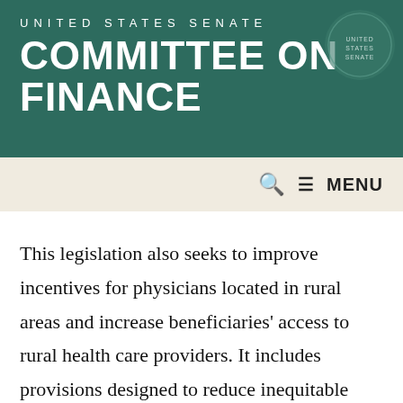UNITED STATES SENATE COMMITTEE ON FINANCE
This legislation also seeks to improve incentives for physicians located in rural areas and increase beneficiaries' access to rural health care providers. It includes provisions designed to reduce inequitable disparities in physician payment resulting from the Geographic Practice Cost Indices, or adjusters, known as GPCIs. Medicare payment for physician services varies from one